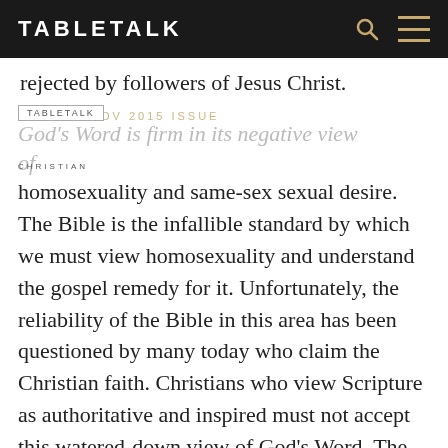TABLETALK
rejected by followers of Jesus Christ.
God's Word is firm in its negative view of homosexuality and same-sex sexual desire. The Bible is the infallible standard by which we must view homosexuality and understand the gospel remedy for it. Unfortunately, the reliability of the Bible in this area has been questioned by many today who claim the Christian faith. Christians who view Scripture as authoritative and inspired must not accept this watered-down view of God's Word. The Bible reveals God's assessment regarding the problems of the human heart, homosexuality being one of many.